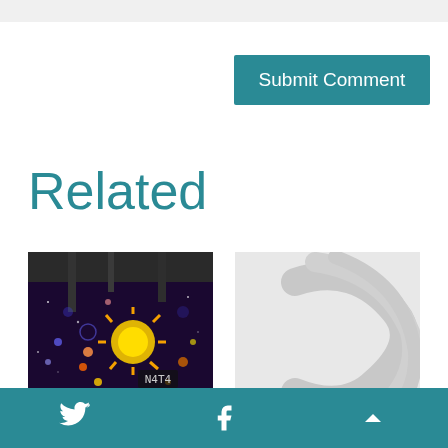Submit Comment
Related
[Figure (photo): Colorful mural with sun and space imagery, labeled N4T4]
[Figure (illustration): Placeholder image with grey swirl/wave design]
Humanities
Library of Congress
Twitter | Facebook | Up arrow